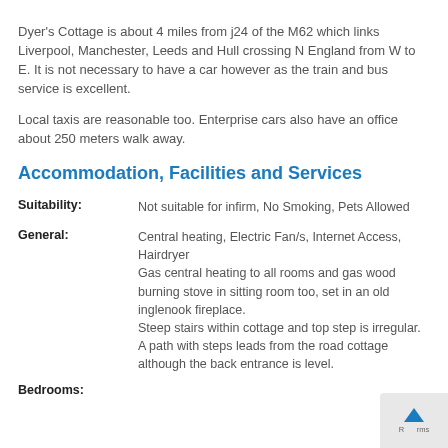Dyer's Cottage is about 4 miles from j24 of the M62 which links Liverpool, Manchester, Leeds and Hull crossing N England from W to E. It is not necessary to have a car however as the train and bus service is excellent.
Local taxis are reasonable too. Enterprise cars also have an office about 250 meters walk away.
Accommodation, Facilities and Services
| Suitability: | Not suitable for infirm, No Smoking, Pets Allowed |
| General: | Central heating, Electric Fan/s, Internet Access, Hairdryer
Gas central heating to all rooms and gas wood burning stove in sitting room too, set in an old inglenook fireplace.
Steep stairs within cottage and top step is irregular.
A path with steps leads from the road cottage although the back entrance is level. |
| Bedrooms: | 4 Bedrooms: Sleep 8 |